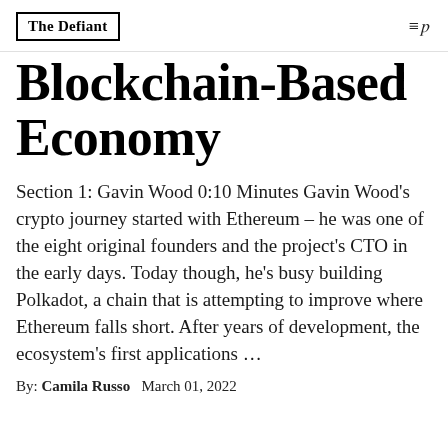The Defiant
Blockchain-Based Economy
Section 1: Gavin Wood 0:10 Minutes Gavin Wood’s crypto journey started with Ethereum – he was one of the eight original founders and the project’s CTO in the early days. Today though, he’s busy building Polkadot, a chain that is attempting to improve where Ethereum falls short. After years of development, the ecosystem’s first applications …
By: Camila Russo   March 01, 2022